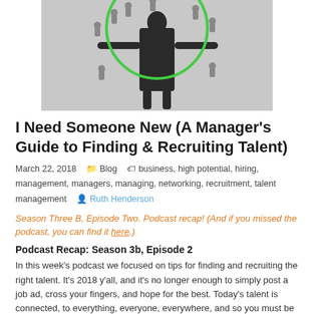[Figure (photo): A person in business attire standing with arms outstretched, surrounded by small human figure icons connected by a green circle, representing recruitment/networking concept.]
I Need Someone New (A Manager's Guide to Finding & Recruiting Talent)
March 22, 2018   Blog   business, high potential, hiring, management, managers, managing, networking, recruitment, talent management   Ruth Henderson
Season Three B, Episode Two. Podcast recap! (And if you missed the podcast, you can find it here.)
Podcast Recap: Season 3b, Episode 2
In this week's podcast we focused on tips for finding and recruiting the right talent. It's 2018 y'all, and it's no longer enough to simply post a job ad, cross your fingers, and hope for the best. Today's talent is connected, to everything, everyone, everywhere, and so you must be